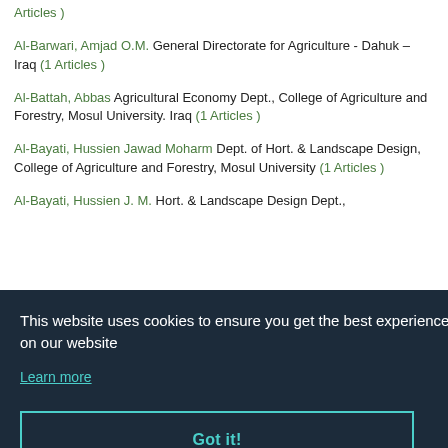Articles )
Al-Barwari, Amjad O.M. General Directorate for Agriculture - Dahuk – Iraq (1 Articles )
Al-Battah, Abbas Agricultural Economy Dept., College of Agriculture and Forestry, Mosul University. Iraq (1 Articles )
Al-Bayati, Hussien Jawad Moharm Dept. of Hort. & Landscape Design, College of Agriculture and Forestry, Mosul University (1 Articles )
Al-Bayati, Hussien J. M. Hort. & Landscape Design Dept.,
This website uses cookies to ensure you get the best experience on our website
Learn more
Got it!
Al-Bayati, Hussien College of Agriculture and Forestry